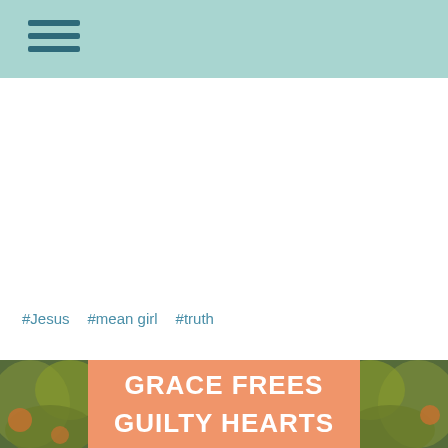#Jesus  #mean girl  #truth
[Figure (photo): An orange-background overlay box on a background of green and yellow foliage, with bold white text reading 'GRACE FREES GUILTY HEARTS']